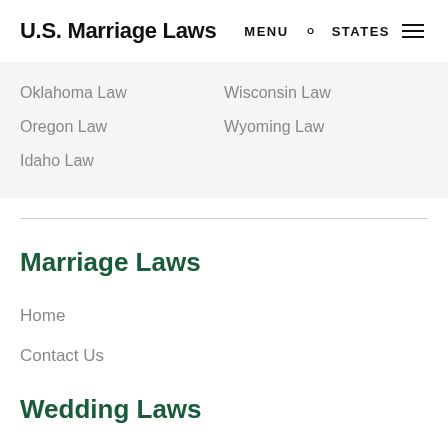U.S. Marriage Laws  MENU  🔍  STATES  ☰
Oklahoma Law
Wisconsin Law
Oregon Law
Wyoming Law
Idaho Law
Marriage Laws
Home
Contact Us
Wedding Laws